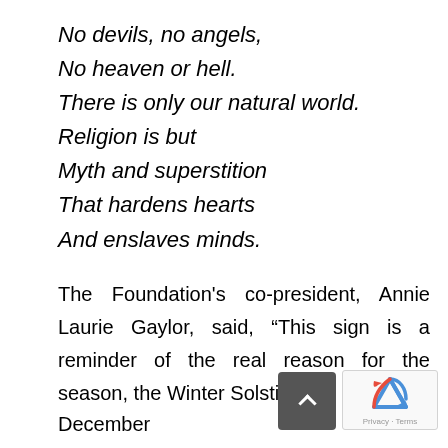No devils, no angels,
No heaven or hell.
There is only our natural world.
Religion is but
Myth and superstition
That hardens hearts
And enslaves minds.
The Foundation's co-president, Annie Laurie Gaylor, said, “This sign is a reminder of the real reason for the season, the Winter Solstice.”
December